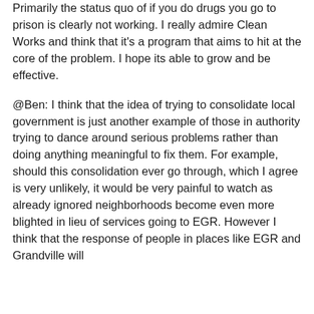Primarily the status quo of if you do drugs you go to prison is clearly not working. I really admire Clean Works and think that it's a program that aims to hit at the core of the problem. I hope its able to grow and be effective.
@Ben: I think that the idea of trying to consolidate local government is just another example of those in authority trying to dance around serious problems rather than doing anything meaningful to fix them. For example, should this consolidation ever go through, which I agree is very unlikely, it would be very painful to watch as already ignored neighborhoods become even more blighted in lieu of services going to EGR. However I think that the response of people in places like EGR and Grandville will